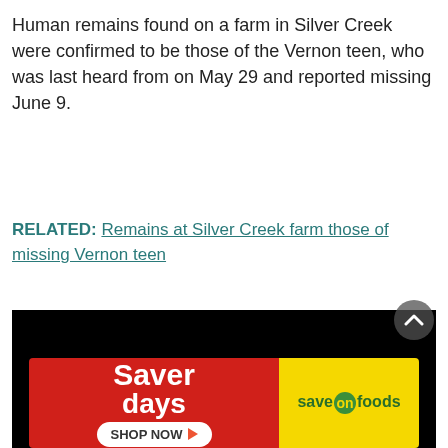Human remains found on a farm in Silver Creek were confirmed to be those of the Vernon teen, who was last heard from on May 29 and reported missing June 9.
RELATED: Remains at Silver Creek farm those of missing Vernon teen
[Figure (other): Black video player with a white play button in the center]
[Figure (other): Saver days advertisement banner with Shop Now button and Save On Foods logo on yellow background]